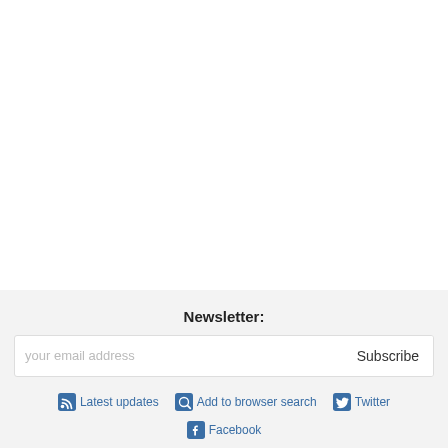Newsletter:
your email address  Subscribe
Latest updates
Add to browser search
Twitter
Facebook
English  Deutsch  Español  Francais  Italiano  日本語  한국어